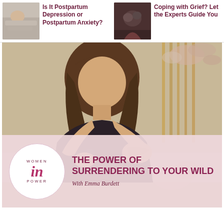[Figure (photo): Thumbnail image of person lying down, related to postpartum depression article]
Is It Postpartum Depression or Postpartum Anxiety?
[Figure (photo): Thumbnail image of two people embracing, related to coping with grief article]
Coping with Grief? Let the Experts Guide You
[Figure (photo): Main large photo: woman with long brown hair in dark patterned blouse speaking/gesturing, floral arrangement in background. Overlay shows Women In Power logo and title 'The Power of Surrendering to Your Wild' with 'With Emma Burdett']